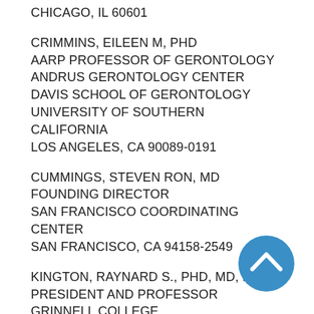CHICAGO, IL 60601
CRIMMINS, EILEEN M, PHD
AARP PROFESSOR OF GERONTOLOGY
ANDRUS GERONTOLOGY CENTER
DAVIS SCHOOL OF GERONTOLOGY
UNIVERSITY OF SOUTHERN CALIFORNIA
LOS ANGELES, CA 90089-0191
CUMMINGS, STEVEN RON, MD
FOUNDING DIRECTOR
SAN FRANCISCO COORDINATING CENTER
SAN FRANCISCO, CA 94158-2549
KINGTON, RAYNARD S., PHD, MD, MBA
PRESIDENT AND PROFESSOR
GRINNELL COLLEGE
NOLLEN HOUSE
GRINNELL, IA 50112
[Figure (other): Blue circular scroll-to-top button with upward chevron arrow icon]